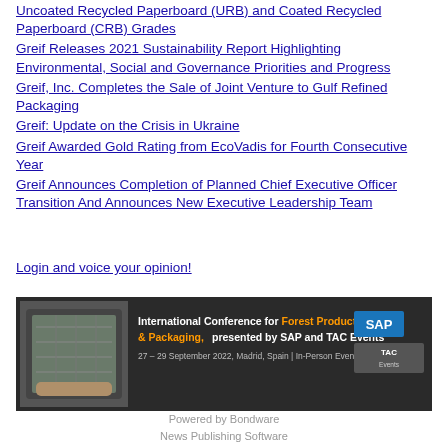Uncoated Recycled Paperboard (URB) and Coated Recycled Paperboard (CRB) Grades
Greif Releases 2021 Sustainability Report Highlighting Environmental, Social and Governance Priorities and Progress
Greif, Inc. Completes the Sale of Joint Venture to Gulf Refined Packaging
Greif: Update on the Crisis in Ukraine
Greif Awarded Gold Rating from EcoVadis for Fourth Consecutive Year
Greif Announces Completion of Planned Chief Executive Officer Transition And Announces New Executive Leadership Team
Login and voice your opinion!
[Figure (infographic): Banner advertisement for International Conference for Forest Products, Paper & Packaging, presented by SAP and TAC Events. 27-29 September 2022, Madrid, Spain | In-Person Event. Shows SAP and TAC Events logos on dark background with tablet image on left.]
Powered by Bondware
News Publishing Software